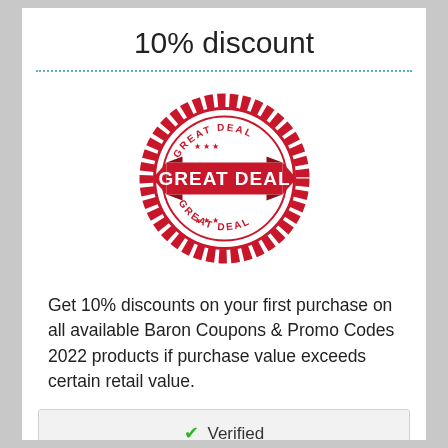10% discount
[Figure (illustration): Red circular stamp/badge with text 'GREAT DEAL' repeated, featuring a ribbon banner in the center with 'GREAT DEAL' and decorative stars around the inner circle.]
Get 10% discounts on your first purchase on all available Baron Coupons & Promo Codes 2022 products if purchase value exceeds certain retail value.
| ✔ Verified |
| 0 Comments |